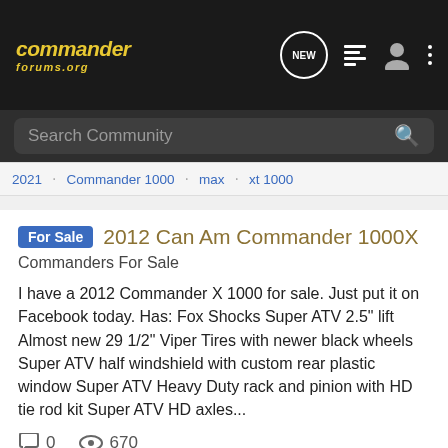commander forums.org
Search Community
2021 · Commander 1000 · max · xt 1000
For Sale 2012 Can Am Commander 1000X
Commanders For Sale
I have a 2012 Commander X 1000 for sale. Just put it on Facebook today. Has: Fox Shocks Super ATV 2.5" lift Almost new 29 1/2" Viper Tires with newer black wheels Super ATV half windshield with custom rear plastic window Super ATV Heavy Duty rack and pinion with HD tie rod kit Super ATV HD axles...
0 comments · 670 views
stuff4mason · Feb 10, 2022
commander 1000